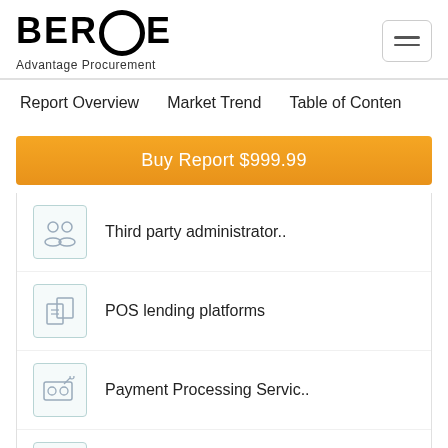BEROE Advantage Procurement
Report Overview   Market Trend   Table of Content
Buy Report $999.99
Third party administrator..
POS lending platforms
Payment Processing Servic..
Lockbox Services